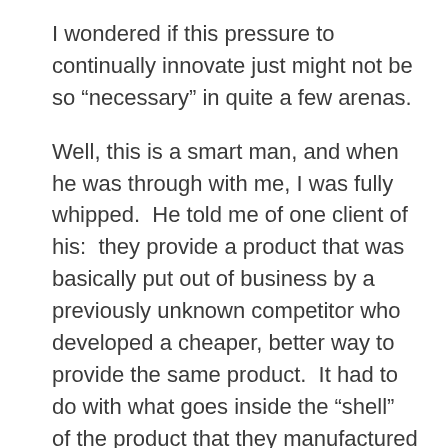I wondered if this pressure to continually innovate just might not be so “necessary” in quite a few arenas.
Well, this is a smart man, and when he was through with me, I was fully whipped.  He told me of one client of his:  they provide a product that was basically put out of business by a previously unknown competitor who developed a cheaper, better way to provide the same product.  It had to do with what goes inside the “shell” of the product that they manufactured and sold.    So, this company had to adapt, quickly.  They had to